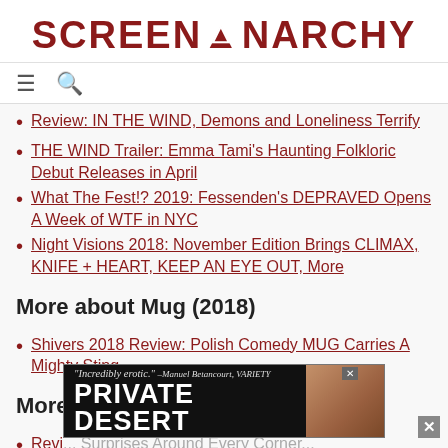SCREENANARCHY
Review: IN THE WIND, Demons and Loneliness Terrify
THE WIND Trailer: Emma Tami's Haunting Folkloric Debut Releases in April
What The Fest!? 2019: Fessenden's DEPRAVED Opens A Week of WTF in NYC
Night Visions 2018: November Edition Brings CLIMAX, KNIFE + HEART, KEEP AN EYE OUT, More
More about Mug (2018)
Shivers 2018 Review: Polish Comedy MUG Carries A Mighty Sting
More about Number 37
Revi... Surprises Around Every Corner...
[Figure (screenshot): Advertisement banner: 'Incredibly erotic.' -Manuel Betancourt, VARIETY / PRIVATE DESERT with close button]